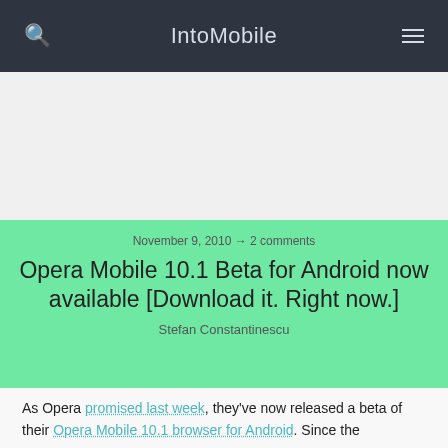IntoMobile
[Figure (other): Advertisement placeholder area, light gray background]
November 9, 2010 → 2 comments
Opera Mobile 10.1 Beta for Android now available [Download it. Right now.]
Stefan Constantinescu
As Opera promised last week, they've now released a beta of their Opera Mobile 10.1 browser for Android. Since the…